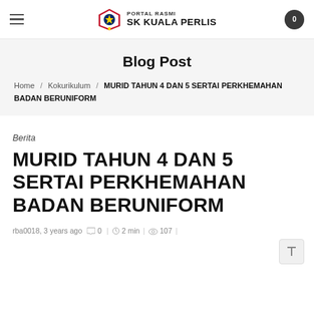PORTAL RASMI SK KUALA PERLIS
Blog Post
Home / Kokurikulum / MURID TAHUN 4 DAN 5 SERTAI PERKHEMAHAN BADAN BERUNIFORM
Berita
MURID TAHUN 4 DAN 5 SERTAI PERKHEMAHAN BADAN BERUNIFORM
rba0018, 3 years ago   0 |   2 min |   107 |